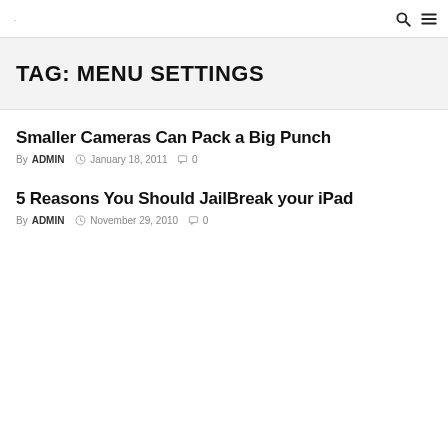. [search icon] [menu icon]
TAG: MENU SETTINGS
Smaller Cameras Can Pack a Big Punch
By ADMIN  January 18, 2011  0
5 Reasons You Should JailBreak your iPad
By ADMIN  November 29, 2010  0